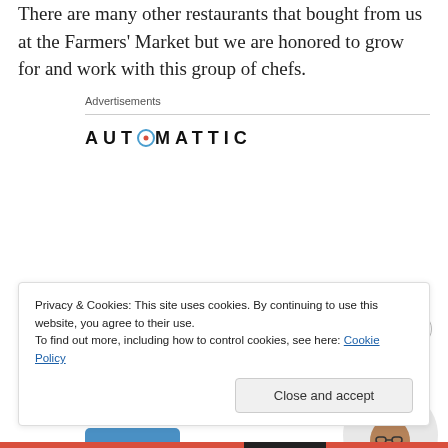There are many other restaurants that bought from us at the Farmers' Market but we are honored to grow for and work with this group of chefs.
Advertisements
[Figure (logo): Automattic logo with stylized compass/dot 'O']
[Figure (infographic): Automattic advertisement: 'Build a better web and a better world.' with Apply button and person photo]
Privacy & Cookies: This site uses cookies. By continuing to use this website, you agree to their use.
To find out more, including how to control cookies, see here: Cookie Policy
Close and accept